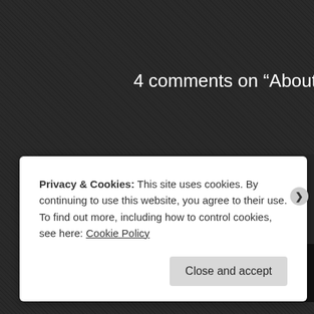4 comments on “About
diane
on August 29, 2014 at 10:09 am said:
Love the Web site 🙂
Privacy & Cookies: This site uses cookies. By continuing to use this website, you agree to their use.
To find out more, including how to control cookies, see here: Cookie Policy
Close and accept